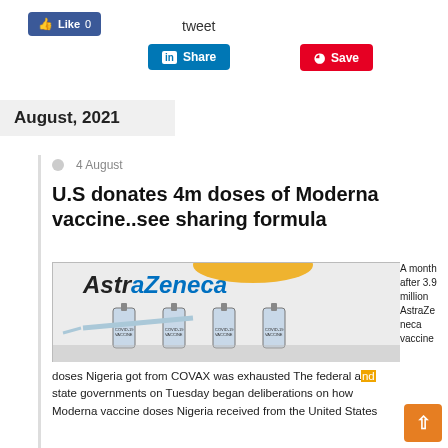[Figure (screenshot): Social media sharing buttons: Facebook Like (0), tweet, LinkedIn Share, Pinterest Save]
August, 2021
4 August
U.S donates 4m doses of Moderna vaccine..see sharing formula
[Figure (photo): Photo of AstraZeneca COVID-19 vaccine vials and syringes on reflective surface with AstraZeneca branding in background]
A month after 3.9 million AstraZeneca vaccine doses Nigeria got from COVAX was exhausted The federal and state governments on Tuesday began deliberations on how Moderna vaccine doses Nigeria received from the United States